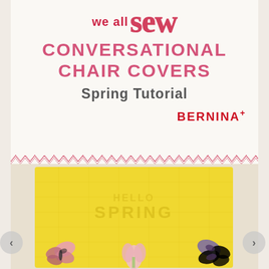we all sew
CONVERSATIONAL CHAIR COVERS
Spring Tutorial
[Figure (logo): BERNINA+ logo in red bold uppercase text]
[Figure (photo): Yellow quilted chair cover with butterfly and flower appliqués, text quilted to read 'SPRING', photographed against light background]
[Figure (other): Left navigation arrow circle button]
[Figure (other): Right navigation arrow circle button]